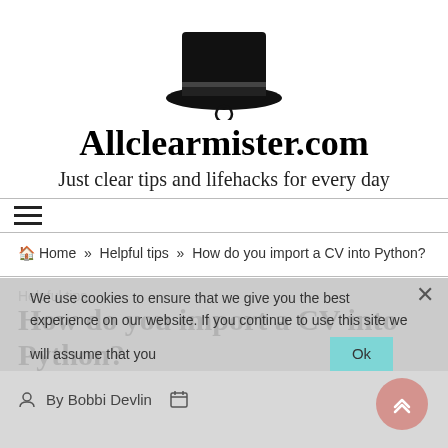[Figure (logo): Top hat with monocle and mustache logo for Allclearmister.com]
Allclearmister.com
Just clear tips and lifehacks for every day
Home » Helpful tips » How do you import a CV into Python?
We use cookies to ensure that we give you the best experience on our website. If you continue to use this site we will assume that you
Helpful tips
How do you import a CV into Python?
By Bobbi Devlin